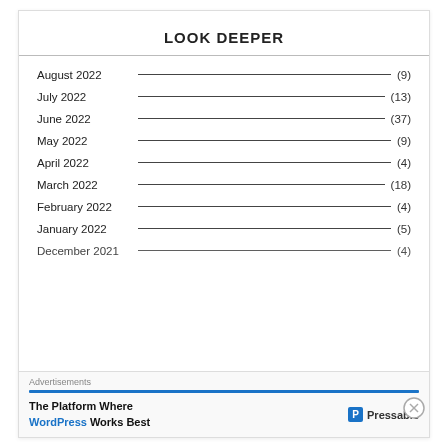LOOK DEEPER
August 2022 (9)
July 2022 (13)
June 2022 (37)
May 2022 (9)
April 2022 (4)
March 2022 (18)
February 2022 (4)
January 2022 (5)
December 2021 (4)
Advertisements
The Platform Where WordPress Works Best  Pressable